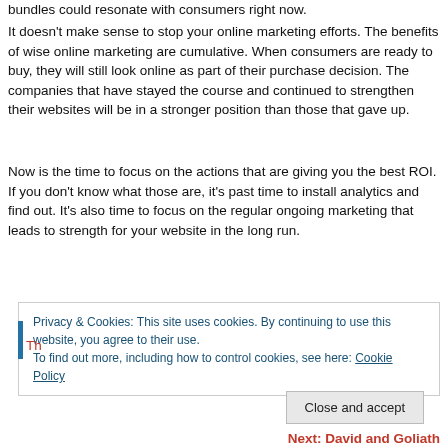bundles could resonate with consumers right now.
It doesn't make sense to stop your online marketing efforts. The benefits of wise online marketing are cumulative. When consumers are ready to buy, they will still look online as part of their purchase decision. The companies that have stayed the course and continued to strengthen their websites will be in a stronger position than those that gave up.
Now is the time to focus on the actions that are giving you the best ROI. If you don't know what those are, it's past time to install analytics and find out. It's also time to focus on the regular ongoing marketing that leads to strength for your website in the long run.
Privacy & Cookies: This site uses cookies. By continuing to use this website, you agree to their use.
To find out more, including how to control cookies, see here: Cookie Policy
Close and accept
Next: David and Goliath